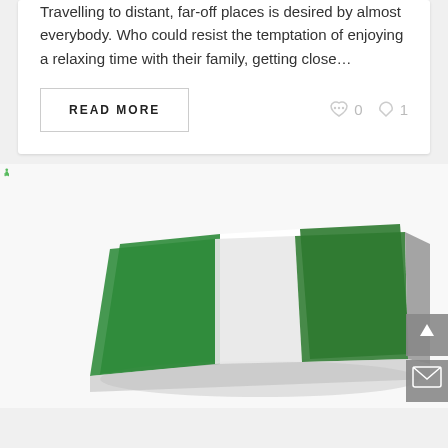Travelling to distant, far-off places is desired by almost everybody. Who could resist the temptation of enjoying a relaxing time with their family, getting close…
READ MORE
0
1
[Figure (illustration): 3D illustration of green human figures surrounding a Nigeria flag map, representing the Nigerian population]